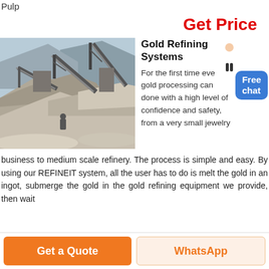Pulp
Get Price
[Figure (photo): Industrial mining or aggregate processing facility with conveyors and piles of crushed stone/gravel]
Gold Refining Systems
For the first time ever gold processing can be done with a high level of confidence and safety, from a very small jewelry business to medium scale refinery. The process is simple and easy. By using our REFINEIT system, all the user has to do is melt the gold in an ingot, submerge the gold in the gold refining equipment we provide, then wait
Get a Quote
WhatsApp